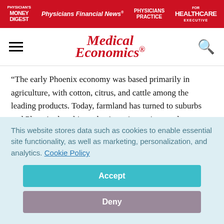Physician's Money Digest | Physicians Financial News | Physicians Practice | Healthcare Executive
Medical Economics
“The early Phoenix economy was based primarily in agriculture, with cotton, citrus, and cattle among the leading products. Today, farmland has turned to suburbs and Phoenix does bigger business in tourism, and manufacturing.”
10. (tie) Tampa, Fla.
This website stores data such as cookies to enable essential site functionality, as well as marketing, personalization, and analytics. Cookie Policy
Accept
Deny